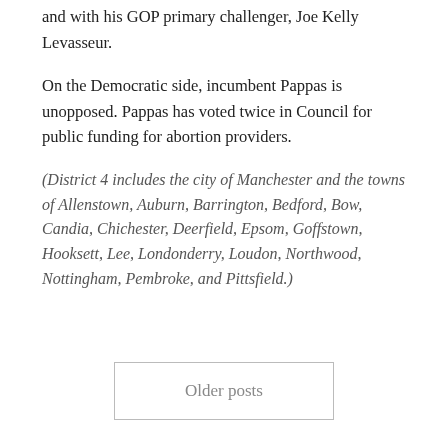and with his GOP primary challenger, Joe Kelly Levasseur.
On the Democratic side, incumbent Pappas is unopposed. Pappas has voted twice in Council for public funding for abortion providers.
(District 4 includes the city of Manchester and the towns of Allenstown, Auburn, Barrington, Bedford, Bow, Candia, Chichester, Deerfield, Epsom, Goffstown, Hooksett, Lee, Londonderry, Loudon, Northwood, Nottingham, Pembroke, and Pittsfield.)
Older posts